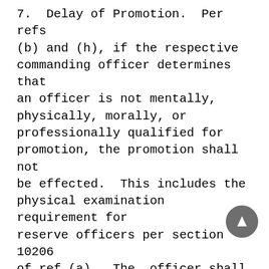7.  Delay of Promotion.  Per refs (b) and (h), if the respective commanding officer determines that an officer is not mentally, physically, morally, or professionally qualified for promotion, the promotion shall not be effected.  This includes the physical examination requirement for reserve officers per section 10206 of ref (a).  The  officer shall be given written notice of the grounds for delay before the effective date of the appointment, unless it is impracticable to do so, in which case the notice shall be given as soon as practicable.  CMC (MMRP-1)